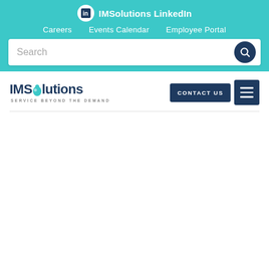IMSolutions LinkedIn
Careers   Events Calendar   Employee Portal
[Figure (screenshot): Search bar with placeholder text 'Search' and a dark blue circular search icon button on the right]
[Figure (logo): IMSolutions logo with tagline SERVICE BEYOND THE DEMAND, along with CONTACT US button and hamburger menu button]